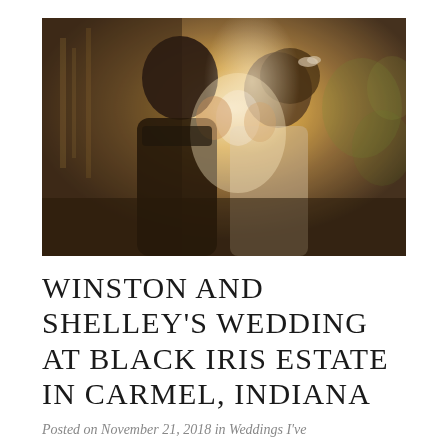[Figure (photo): A couple facing each other closely, backlit by warm golden sunset light. The groom is on the left in a dark suit, the bride on the right wearing a white dress and a floral hair accessory. The background is softly blurred with bokeh light.]
WINSTON AND SHELLEY'S WEDDING AT BLACK IRIS ESTATE IN CARMEL, INDIANA
Posted on November 21, 2018 in Weddings I've